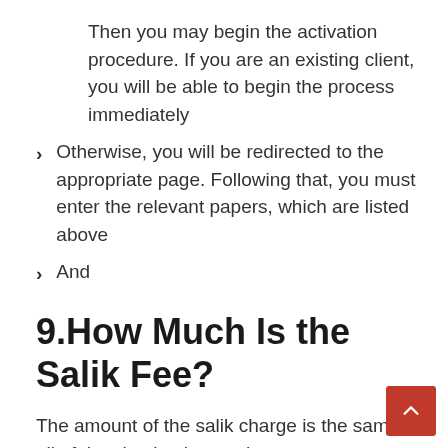Then you may begin the activation procedure. If you are an existing client, you will be able to begin the process immediately
Otherwise, you will be redirected to the appropriate page. Following that, you must enter the relevant papers, which are listed above
And
9.How Much Is the Salik Fee?
The amount of the salik charge is the same at all of the checkpoints and gates.